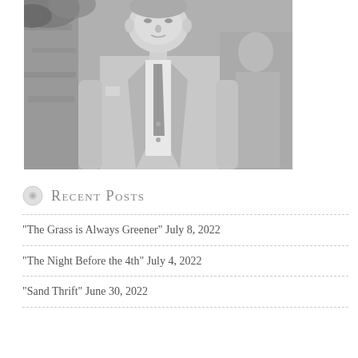[Figure (photo): Black and white photograph of a man in a light-colored suit with a tie, standing outdoors near a stone wall with foliage. A blurred figure is partially visible behind him on the right.]
Recent Posts
“The Grass is Always Greener” July 8, 2022
“The Night Before the 4th” July 4, 2022
“Sand Thrift” June 30, 2022